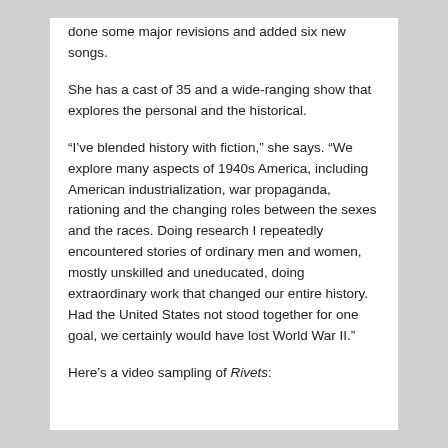done some major revisions and added six new songs.
She has a cast of 35 and a wide-ranging show that explores the personal and the historical.
“I’ve blended history with fiction,” she says. “We explore many aspects of 1940s America, including American industrialization, war propaganda, rationing and the changing roles between the sexes and the races. Doing research I repeatedly encountered stories of ordinary men and women, mostly unskilled and uneducated, doing extraordinary work that changed our entire history. Had the United States not stood together for one goal, we certainly would have lost World War II.”
Here’s a video sampling of Rivets: